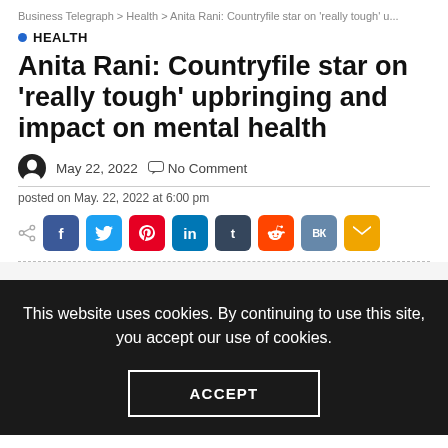Business Telegraph > Health > Anita Rani: Countryfile star on 'really tough' u...
HEALTH
Anita Rani: Countryfile star on 'really tough' upbringing and impact on mental health
May 22, 2022   No Comment
posted on May. 22, 2022 at 6:00 pm
[Figure (infographic): Social share buttons: Facebook, Twitter, Pinterest, LinkedIn, Tumblr, Reddit, VK, Email]
This website uses cookies. By continuing to use this site, you accept our use of cookies.
ACCEPT